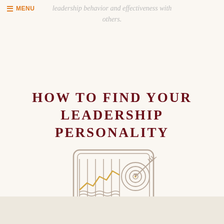≡ MENU
leadership behavior and effectiveness with others.
HOW TO FIND YOUR LEADERSHIP PERSONALITY
[Figure (illustration): Line-art illustration of a computer monitor displaying a bar/line chart with a target/bullseye with an arrow on the right side, and wavy lines at the bottom. The monitor has three dots at the base and sits on a stand.]